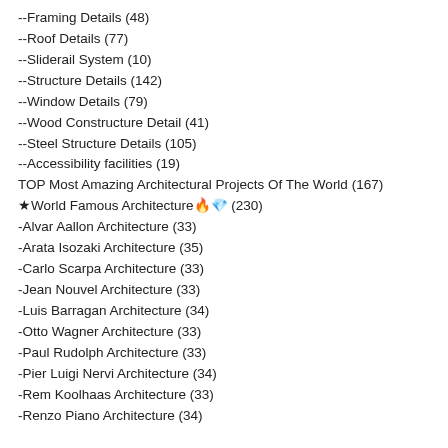--Framing Details (48)
--Roof Details (77)
--Sliderail System (10)
--Structure Details (142)
--Window Details (79)
--Wood Constructure Detail (41)
--Steel Structure Details (105)
--Accessibility facilities (19)
TOP Most Amazing Architectural Projects Of The World (167)
★World Famous Architecture🔥💎 (230)
-Alvar Aallon Architecture (33)
-Arata Isozaki Architecture (35)
-Carlo Scarpa Architecture (33)
-Jean Nouvel Architecture (33)
-Luis Barragan Architecture (34)
-Otto Wagner Architecture (33)
-Paul Rudolph Architecture (33)
-Pier Luigi Nervi Architecture (34)
-Rem Koolhaas Architecture (33)
-Renzo Piano Architecture (34)